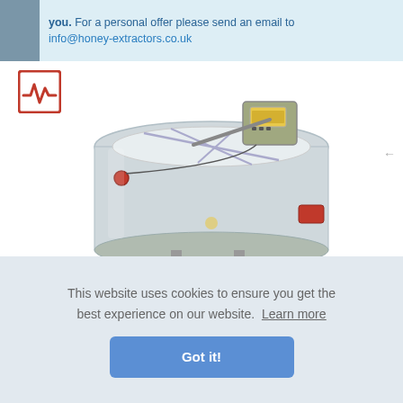you. For a personal offer please send an email to info@honey-extractors.co.uk
[Figure (photo): Honey extractor machine - a large stainless steel cylindrical extractor with motor, digital display, and red safety switch, viewed from above at an angle]
This website uses cookies to ensure you get the best experience on our website. Learn more
Got it!